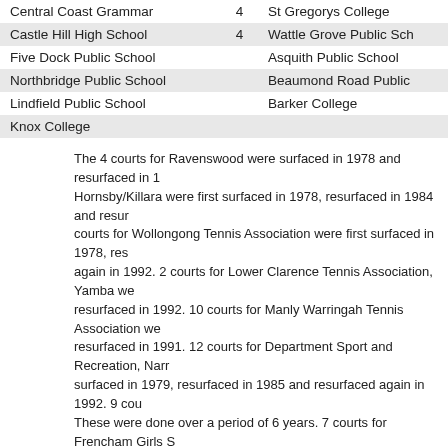| Central Coast Grammar | 4 | St Gregorys College |  |
| Castle Hill High School | 4 | Wattle Grove Public Sch |  |
| Five Dock Public School |  | Asquith Public School |  |
| Northbridge Public School |  | Beaumond Road Public |  |
| Lindfield Public School |  | Barker College |  |
| Knox College |  |  |  |
The 4 courts for Ravenswood were surfaced in 1978 and resurfaced in 1... Hornsby/Killara were first surfaced in 1978, resurfaced in 1984 and resur... courts for Wollongong Tennis Association were first surfaced in 1978, res... again in 1992. 2 courts for Lower Clarence Tennis Association, Yamba we... resurfaced in 1992. 10 courts for Manly Warringah Tennis Association we... resurfaced in 1991. 12 courts for Department Sport and Recreation, Narr... surfaced in 1979, resurfaced in 1985 and resurfaced again in 1992. 9 cou... These were done over a period of 6 years. 7 courts for Frencham Girls S... resurfaced in 1992. 4 courts for Sydney Boys High were first surfaced in ... courts for the Macquarie University were first surfaced in 1978 and resurf...
Please note also we have surfaced numerous courts for Tennis Associatio... Councils.
CRICKET REFERENCES